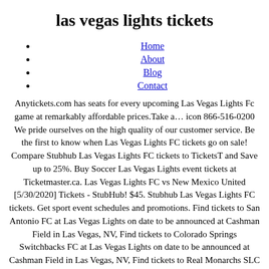las vegas lights tickets
Home
About
Blog
Contact
Anytickets.com has seats for every upcoming Las Vegas Lights Fc game at remarkably affordable prices.Take a… icon 866-516-0200 We pride ourselves on the high quality of our customer service. Be the first to know when Las Vegas Lights FC tickets go on sale! Compare Stubhub Las Vegas Lights FC tickets to TicketsT and Save up to 25%. Buy Soccer Las Vegas Lights event tickets at Ticketmaster.ca. Las Vegas Lights FC vs New Mexico United [5/30/2020] Tickets - StubHub! $45. Stubhub Las Vegas Lights FC tickets. Get sport event schedules and promotions. Find tickets to San Antonio FC at Las Vegas Lights on date to be announced at Cashman Field in Las Vegas, NV, Find tickets to Colorado Springs Switchbacks FC at Las Vegas Lights on date to be announced at Cashman Field in Las Vegas, NV, Find tickets to Real Monarchs SLC at Las Vegas Lights on date to be announced at Cashman Field in Las Vegas, NV, Find tickets to Rio Grande Valley FC Toros at Las Vegas Lights on date to be announced at Cashman Field in Las Vegas, NV, Find tickets to Las Vegas Lights on date to be announced at